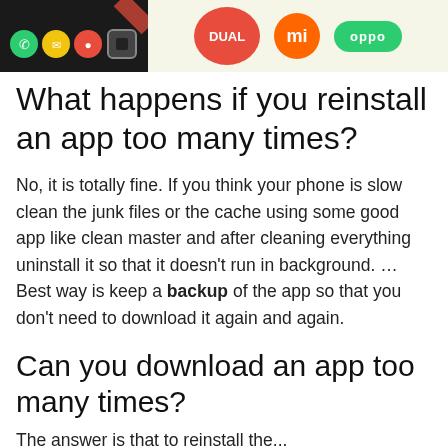[Figure (illustration): Banner image showing a smartphone with colorful app icons on dark background, alongside brand logos: DUAL (red circle), mi (orange circle), and oppo (green oval badge)]
What happens if you reinstall an app too many times?
No, it is totally fine. If you think your phone is slow clean the junk files or the cache using some good app like clean master and after cleaning everything uninstall it so that it doesn't run in background. … Best way is keep a backup of the app so that you don't need to download it again and again.
Can you download an app too many times?
The answer is that to reinstall the...